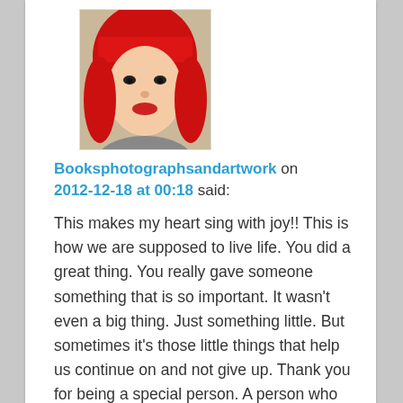[Figure (photo): Avatar photo of a person with vivid red hair and bangs, wearing red lipstick, looking at the camera.]
Booksphotographsandartwork on 2012-12-18 at 00:18 said:
This makes my heart sing with joy!! This is how we are supposed to live life. You did a great thing. You really gave someone something that is so important. It wasn't even a big thing. Just something little. But sometimes it's those little things that help us continue on and not give up. Thank you for being a special person. A person who has open eyes and an open heart.
Like